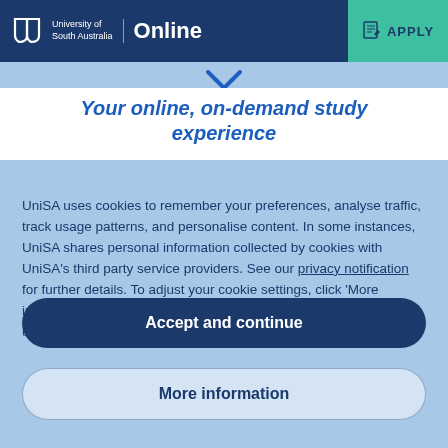[Figure (logo): University of South Australia Online logo with UniSA shield icon, white text on dark blue background]
[Figure (other): APPLY button with pencil/document icon on teal/green background]
[Figure (other): Blue chevron/down-arrow indicator]
Your online, on-demand study experience
UniSA uses cookies to remember your preferences, analyse traffic, track usage patterns, and personalise content. In some instances, UniSA shares personal information collected by cookies with UniSA's third party service providers. See our privacy notification for further details. To adjust your cookie settings, click 'More information'. By clicking 'Accept and continue', you consent to our use of cookies.
Accept and continue
More information